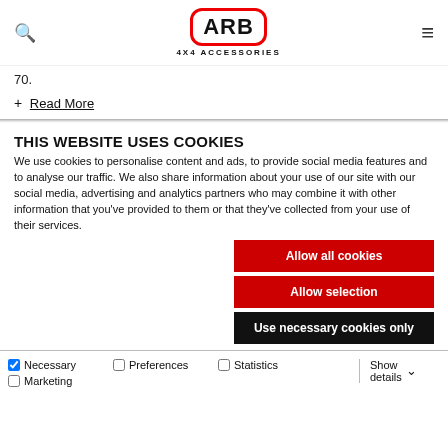ARB 4X4 ACCESSORIES
70.
+ Read More
THIS WEBSITE USES COOKIES
We use cookies to personalise content and ads, to provide social media features and to analyse our traffic. We also share information about your use of our site with our social media, advertising and analytics partners who may combine it with other information that you've provided to them or that they've collected from your use of their services.
Allow all cookies
Allow selection
Use necessary cookies only
Necessary | Preferences | Statistics | Marketing | Show details